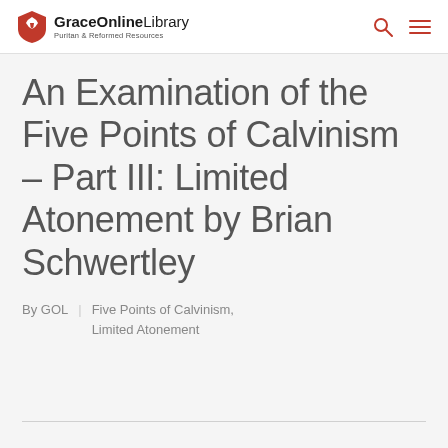GraceOnlineLibrary — Puritan & Reformed Resources
An Examination of the Five Points of Calvinism – Part III: Limited Atonement by Brian Schwertley
By GOL | Five Points of Calvinism, Limited Atonement